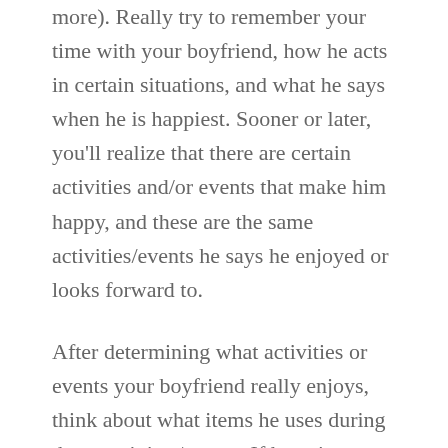more). Really try to remember your time with your boyfriend, how he acts in certain situations, and what he says when he is happiest. Sooner or later, you'll realize that there are certain activities and/or events that make him happy, and these are the same activities/events he says he enjoyed or looks forward to.
After determining what activities or events your boyfriend really enjoys, think about what items he uses during those activites/events. If he enjoys indoor activities like playing video games, consider what he uses when he plays those games: a TV, sound system, video game console, accessories, and of course the games. If he enjoys outdoor activities like fishing, consider